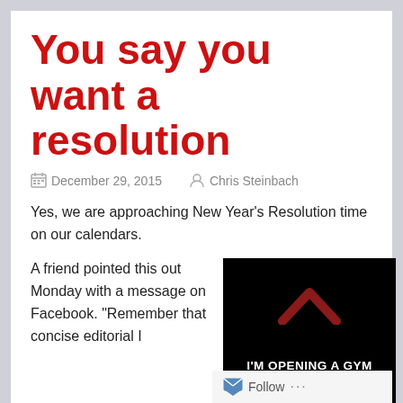You say you want a resolution
December 29, 2015   Chris Steinbach
Yes, we are approaching New Year's Resolution time on our calendars.
A friend pointed this out Monday with a message on Facebook. “Remember that concise editorial I
[Figure (photo): Black background image with a dark red chevron/arrow pointing up and white bold text reading I'M OPENING A GYM CALLED "RESOLUTIONS"]